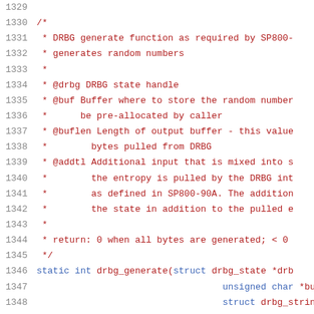[Figure (screenshot): Source code viewer showing lines 1329-1350 of a C file. Line numbers on the left in gray, code on the right. Comments are in red/brown color, keywords in blue. Shows a DRBG generate function comment block and function signature.]